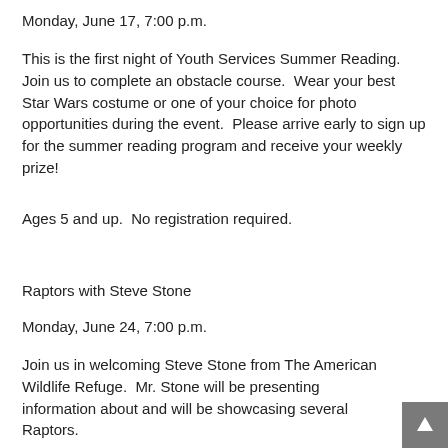Monday, June 17, 7:00 p.m.
This is the first night of Youth Services Summer Reading.  Join us to complete an obstacle course.  Wear your best Star Wars costume or one of your choice for photo opportunities during the event.  Please arrive early to sign up for the summer reading program and receive your weekly prize!
Ages 5 and up.  No registration required.
Raptors with Steve Stone
Monday, June 24, 7:00 p.m.
Join us in welcoming Steve Stone from The American Wildlife Refuge.  Mr. Stone will be presenting information about and will be showcasing several Raptors.